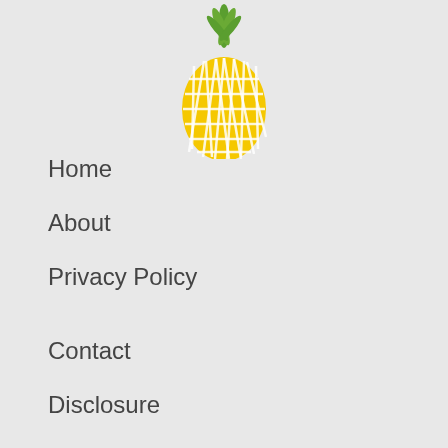[Figure (illustration): A pineapple icon with yellow body and green leaves on top, centered at the top of the page]
Home
About
Privacy Policy
Contact
Disclosure
Terms Of Use